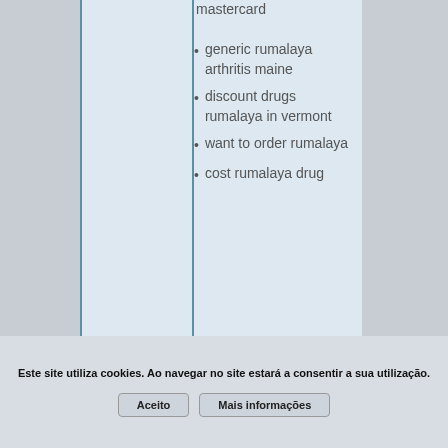mastercard
generic rumalaya arthritis maine
discount drugs rumalaya in vermont
want to order rumalaya
cost rumalaya drug
Este site utiliza cookies. Ao navegar no site estará a consentir a sua utilização.